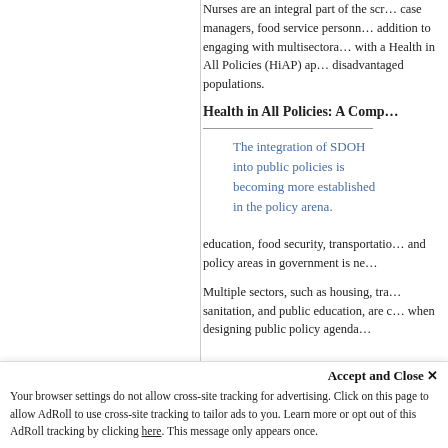Nurses are an integral part of the scr... case managers, food service personn... addition to engaging with multisectora... with a Health in All Policies (HiAP) ap... disadvantaged populations.
Health in All Policies: A Comp...
The integration of SDOH into public policies is becoming more established in the policy arena.
education, food security, transportatio... and policy areas in government is ne...
Multiple sectors, such as housing, tra... sanitation, and public education, are c... when designing public policy agenda...
Accept and Close ✕
Your browser settings do not allow cross-site tracking for advertising. Click on this page to allow AdRoll to use cross-site tracking to tailor ads to you. Learn more or opt out of this AdRoll tracking by clicking here. This message only appears once.